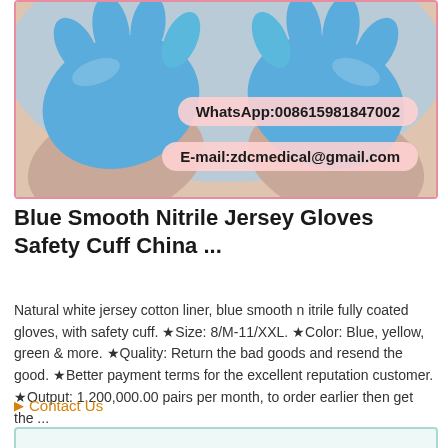[Figure (photo): Hands wearing blue nitrile gloves, with pink contact badges showing WhatsApp:008615981847002 and E-mail:zdcmedical@gmail.com]
Blue Smooth Nitrile Jersey Gloves Safety Cuff China ...
Natural white jersey cotton liner, blue smooth nitrile fully coated gloves, with safety cuff. ★Size: 8/M-11/XXL. ★Color: Blue, yellow, green & more. ★Quality: Return the bad goods and resend the good. ★Better payment terms for the excellent reputation customer. ★Output: 1,200,000.00 pairs per month, to order earlier then get the ...
▶ Contact Us